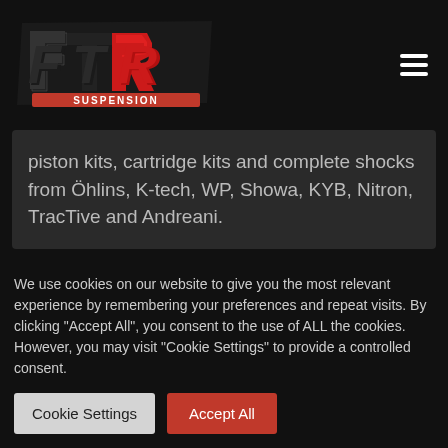[Figure (logo): FTR Suspension logo in red and white on black background]
piston kits, cartridge kits and complete shocks from Öhlins, K-tech, WP, Showa, KYB, Nitron, TracTive and Andreani.
MORE
We use cookies on our website to give you the most relevant experience by remembering your preferences and repeat visits. By clicking "Accept All", you consent to the use of ALL the cookies. However, you may visit "Cookie Settings" to provide a controlled consent.
Cookie Settings | Accept All